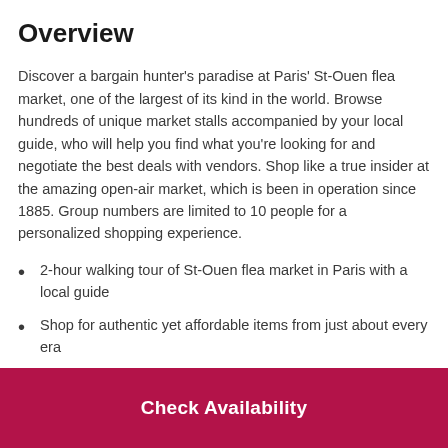Overview
Discover a bargain hunter's paradise at Paris' St-Ouen flea market, one of the largest of its kind in the world. Browse hundreds of unique market stalls accompanied by your local guide, who will help you find what you're looking for and negotiate the best deals with vendors. Shop like a true insider at the amazing open-air market, which is been in operation since 1885. Group numbers are limited to 10 people for a personalized shopping experience.
2-hour walking tour of St-Ouen flea market in Paris with a local guide
Shop for authentic yet affordable items from just about every era
Check Availability